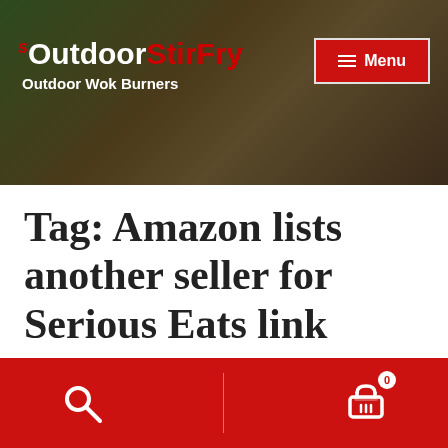OutdoorStirFry — Outdoor Wok Burners
Tag: Amazon lists another seller for Serious Eats link
Posted on January 10, 2021 by admin
160EI availability
Inquiry #1:
Search | Cart (0)